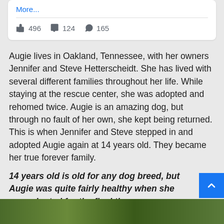More...
👍 496  💬 124  ↪ 165
Augie lives in Oakland, Tennessee, with her owners Jennifer and Steve Hetterscheidt. She has lived with several different families throughout her life. While staying at the rescue center, she was adopted and rehomed twice. Augie is an amazing dog, but through no fault of her own, she kept being returned. This is when Jennifer and Steve stepped in and adopted Augie again at 14 years old. They became her true forever family.
14 years old is old for any dog breed, but Augie was quite fairly healthy when she was adopted for the final time.
[Figure (photo): Green outdoor foliage/nature photo strip at the bottom of the page]